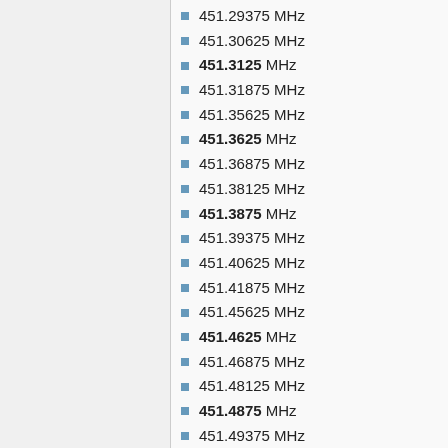451.29375 MHz
451.30625 MHz
451.3125 MHz
451.31875 MHz
451.35625 MHz
451.3625 MHz
451.36875 MHz
451.38125 MHz
451.3875 MHz
451.39375 MHz
451.40625 MHz
451.41875 MHz
451.45625 MHz
451.4625 MHz
451.46875 MHz
451.48125 MHz
451.4875 MHz
451.49375 MHz
451.50625 MHz
451.5125 MHz
451.51875 MHz
451.55625 MHz